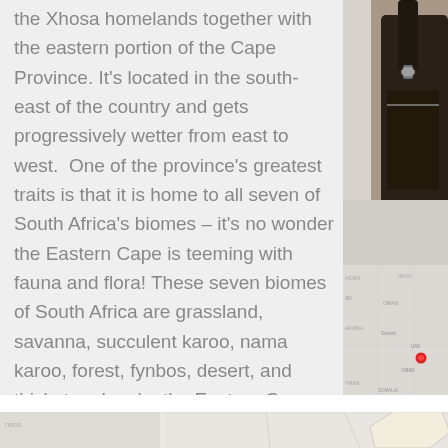the Xhosa homelands together with the eastern portion of the Cape Province. It's located in the south-east of the country and gets progressively wetter from east to west. One of the province's greatest traits is that it is home to all seven of South Africa's biomes – it's no wonder the Eastern Cape is teeming with fauna and flora! These seven biomes of South Africa are grassland, savanna, succulent karoo, nama karoo, forest, fynbos, desert, and thicket and make the Eastern Cape one of South Africa's most diverse provinces.
[Figure (photo): Right side photo strip showing a black leather bag/strap at top and a world map below with a red location pin marker. Bottom portion shows a partial map screenshot of Africa with a blue circular button with three dots (more options).]